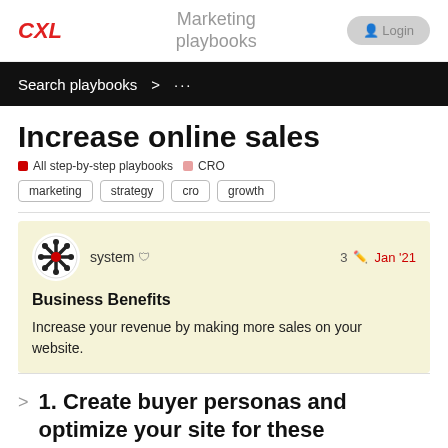CXL  Marketing playbooks  Login
Search playbooks > ...
Increase online sales
All step-by-step playbooks  CRO
marketing
strategy
cro
growth
system  3  Jan '21
Business Benefits
Increase your revenue by making more sales on your website.
1. Create buyer personas and optimize your site for these